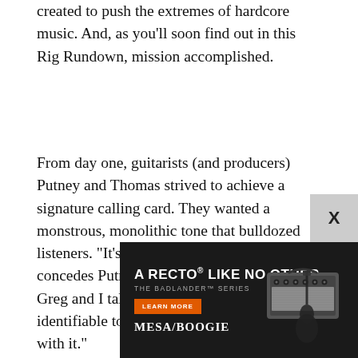created to push the extremes of hardcore music. And, as you'll soon find out in this Rig Rundown, mission accomplished.
From day one, guitarists (and producers) Putney and Thomas strived to achieve a signature calling card. They wanted a monstrous, monolithic tone that bulldozed listeners. “It’s pretty aggressive [laughs],” concedes Putney. “When we started the band, Greg and I talked about finding an identifiable tone that was us and sticking with it.”
And the roots of their sledgehammering sound? “We’re very influenced by the Nordic metal of Entombed, and then, later, Rotten Sound, and American delineations Trap Them,” says Thomas. “A lot of those bands rely on the Boss H[M-2]... We actua[lly use it] because [it’s punishi]ng and offers more control.”
[Figure (other): Mesa/Boogie advertisement showing 'A RECTO LIKE NO OTHER - THE BADLANDER SERIES' with a guitar amplifier head and guitar image, LEARN MORE button, Mesa/Boogie logo, on dark background. Partially overlapping the article text.]